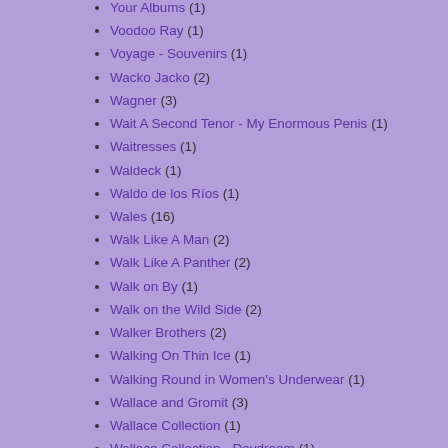Voodoo Ray (1)
Voyage - Souvenirs (1)
Wacko Jacko (2)
Wagner (3)
Wait A Second Tenor - My Enormous Penis (1)
Waitresses (1)
Waldeck (1)
Waldo de los Ríos (1)
Wales (16)
Walk Like A Man (2)
Walk Like A Panther (2)
Walk on By (1)
Walk on the Wild Side (2)
Walker Brothers (2)
Walking On Thin Ice (1)
Walking Round in Women's Underwear (1)
Wallace and Gromit (3)
Wallace Collection (1)
Wallace Collection - Daydream (1)
Wamdue Project (1)
Wanda Osiris (2)
Wang Rong Rollin (1)